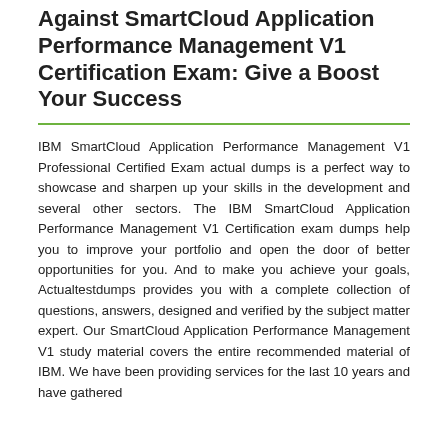Against SmartCloud Application Performance Management V1 Certification Exam: Give a Boost Your Success
IBM SmartCloud Application Performance Management V1 Professional Certified Exam actual dumps is a perfect way to showcase and sharpen up your skills in the development and several other sectors. The IBM SmartCloud Application Performance Management V1 Certification exam dumps help you to improve your portfolio and open the door of better opportunities for you. And to make you achieve your goals, Actualtestdumps provides you with a complete collection of questions, answers, designed and verified by the subject matter expert. Our SmartCloud Application Performance Management V1 study material covers the entire recommended material of IBM. We have been providing services for the last 10 years and have gathered